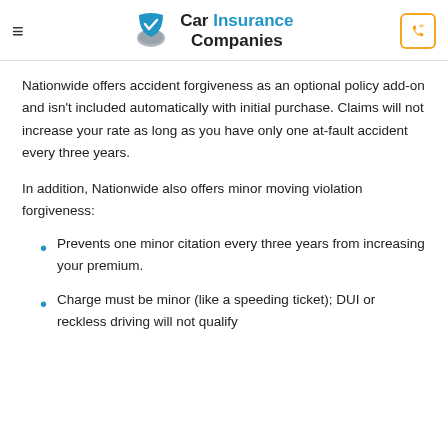Car Insurance Companies
Nationwide offers accident forgiveness as an optional policy add-on and isn’t included automatically with initial purchase. Claims will not increase your rate as long as you have only one at-fault accident every three years.
In addition, Nationwide also offers minor moving violation forgiveness:
Prevents one minor citation every three years from increasing your premium.
Charge must be minor (like a speeding ticket); DUI or reckless driving will not qualify